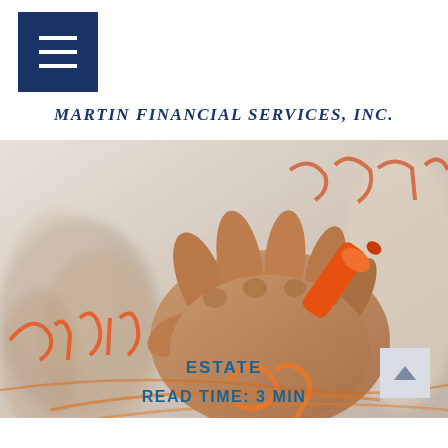MARTIN FINANCIAL SERVICES, INC.
[Figure (photo): Close-up photo of a person's hand holding an orange marker, writing on a glass surface with orange marker strokes. Blurred people visible in background.]
ESTATE
READ TIME: 3 MIN